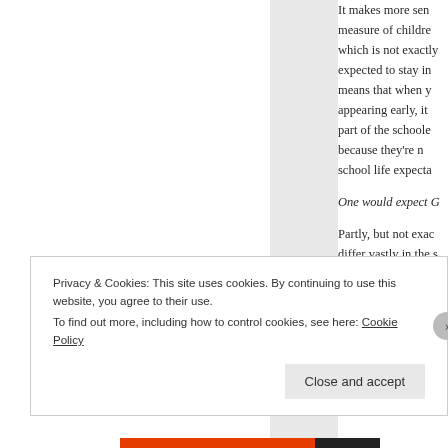It makes more sen measure of childre which is not exactly expected to stay in means that when y appearing early, it part of the schoole because they're n school life expecta
One would expect G
Partly, but not exac differ vastly in the s education.
Privacy & Cookies: This site uses cookies. By continuing to use this website, you agree to their use. To find out more, including how to control cookies, see here: Cookie Policy
Close and accept